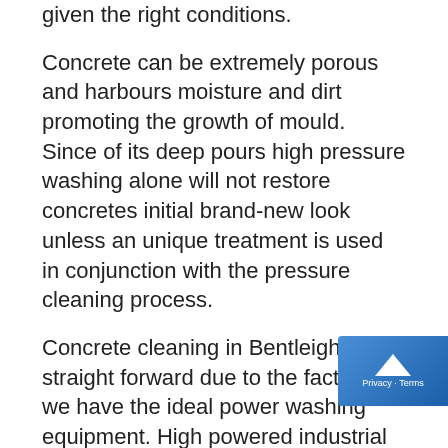given the right conditions.
Concrete can be extremely porous and harbours moisture and dirt promoting the growth of mould. Since of its deep pours high pressure washing alone will not restore concretes initial brand-new look unless an unique treatment is used in conjunction with the pressure cleaning process.
Concrete cleaning in Bentleigh is straight forward due to the fact that we have the ideal power washing equipment. High powered industrial pressure cleaners accompanied by enviro friendly biodegradable concrete cleaning treatments are the only sure ways of removal. Another difficulty associated to concrete cleaning is the physical conditioning of an individual to deal with large projects like cleaning concrete driveways.
Hard work for the amateur